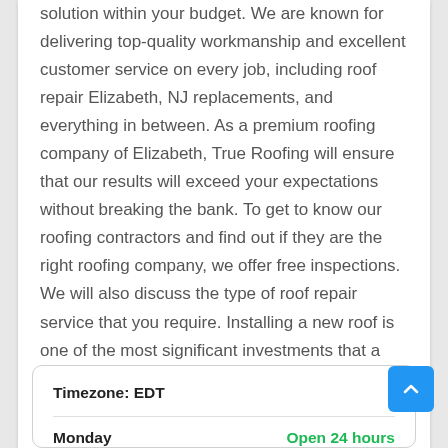solution within your budget. We are known for delivering top-quality workmanship and excellent customer service on every job, including roof repair Elizabeth, NJ replacements, and everything in between. As a premium roofing company of Elizabeth, True Roofing will ensure that our results will exceed your expectations without breaking the bank. To get to know our roofing contractors and find out if they are the right roofing company, we offer free inspections. We will also discuss the type of roof repair service that you require. Installing a new roof is one of the most significant investments that a property owner can make as it should last 20 to 30 years.
Timezone: EDT
Monday    Open 24 hours